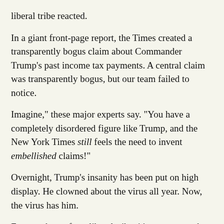liberal tribe reacted.
In a giant front-page report, the Times created a transparently bogus claim about Commander Trump's past income tax payments. A central claim was transparently bogus, but our team failed to notice.
Imagine," these major experts say. "You have a completely disordered figure like Trump, and the New York Times still feels the need to invent embellished claims!"
Overnight, Trump's insanity has been put on high display. He clowned about the virus all year. Now, the virus has him.
For members of our liberal tribe, it's easy to see the lunacy among the other tribe. It's hard to see the work of the Times for what it actually is.
The  Times is part of our own liberal tribe, and one's own tribe can't be wrong. These are the basic rules of the game as set by our war-inclined brains.
This explains how "a parallel income tax" can be "no income tax at